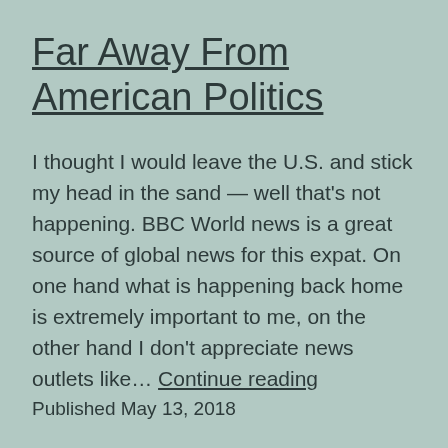Far Away From American Politics
I thought I would leave the U.S. and stick my head in the sand — well that's not happening. BBC World news is a great source of global news for this expat. On one hand what is happening back home is extremely important to me, on the other hand I don't appreciate news outlets like… Continue reading
Published May 13, 2018